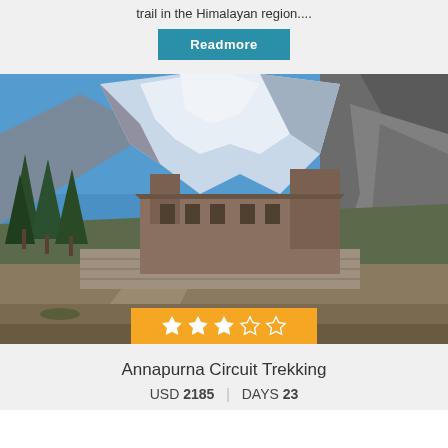trail in the Himalayan region....
Readmore
[Figure (photo): Mountain trail in the Himalayan region showing snow-capped peaks, stone buildings/teahouses along a dirt road, with pine trees on the left side. The Annapurna Circuit trekking route.]
Annapurna Circuit Trekking
USD 2185 | DAYS 23